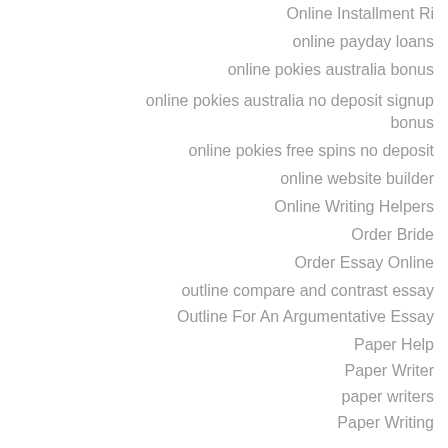Online Installment Ri
online payday loans
online pokies australia bonus
online pokies australia no deposit signup bonus
online pokies free spins no deposit
online website builder
Online Writing Helpers
Order Bride
Order Essay Online
outline compare and contrast essay
Outline For An Argumentative Essay
Paper Help
Paper Writer
paper writers
Paper Writing